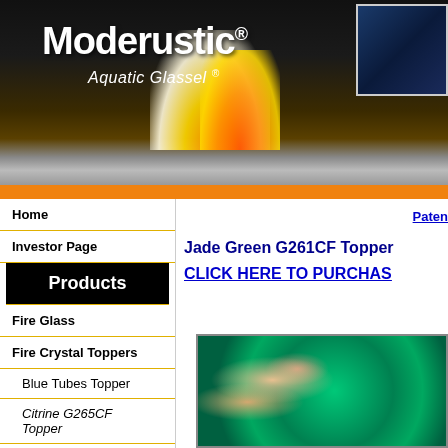[Figure (photo): Moderustic Aquatic Glassel header banner with fire glass and flames on dark background]
Moderustic® Aquatic Glassel ®
Home
Investor Page
Products
Fire Glass
Fire Crystal Toppers
Blue Tubes Topper
Citrine G265CF Topper
Paten
Jade Green G261CF Topper
CLICK HERE TO PURCHASE
[Figure (photo): Close-up photo of jade green fire crystal glass toppers, showing faceted green gemstone-like pieces]